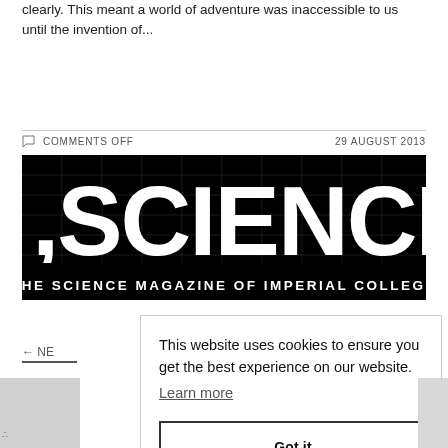clearly. This meant a world of adventure was inaccessible to us until the invention of...
COMMENTS OFF   29 AUGUST 2013
[Figure (logo): I,Science magazine logo — large bold white text on black background reading ',SCIENCE' with grid overlay, subtitle 'THE SCIENCE MAGAZINE OF IMPERIAL COLLEGE']
← NE
This website uses cookies to ensure you get the best experience on our website. Learn more
Got it